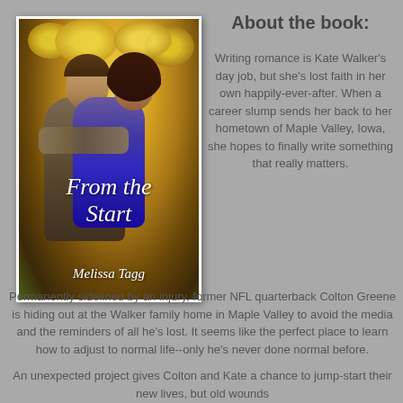[Figure (illustration): Book cover of 'From the Start' by Melissa Tagg showing a couple — a young man and woman — with autumn foliage in the background. White cursive title text and author name at the bottom.]
About the book:
Writing romance is Kate Walker's day job, but she's lost faith in her own happily-ever-after. When a career slump sends her back to her hometown of Maple Valley, Iowa, she hopes to finally write something that really matters.
Permanently sidelined by an injury, former NFL quarterback Colton Greene is hiding out at the Walker family home in Maple Valley to avoid the media and the reminders of all he's lost. It seems like the perfect place to learn how to adjust to normal life--only he's never done normal before.
An unexpected project gives Colton and Kate a chance to jump-start their new lives, but old wounds